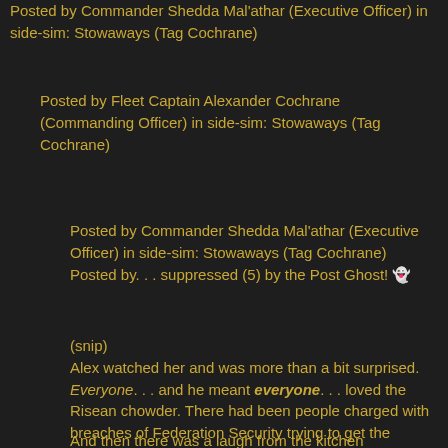Posted by Commander Shedda Mal'athar (Executive Officer) in side-sim: Stowaways (Tag Cochrane)
Posted by Fleet Captain Alexander Cochrane (Commanding Officer) in side-sim: Stowaways (Tag Cochrane)
Posted by Commander Shedda Mal'athar (Executive Officer) in side-sim: Stowaways (Tag Cochrane)
Posted by. . . suppressed (5) by the Post Ghost! 👻
(snip)
Alex watched her and was more than a bit surprised. Everyone. . . and he meant everyone. . . loved the Risean chowder. There had been people charged with breaches of Federation Security trying to get the recipe.
And then there was a laugh from the kitchen